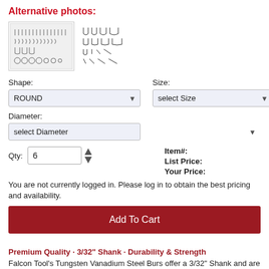Alternative photos:
[Figure (photo): Two thumbnail images of dental/tool burs — left shows a grid arrangement of various bur shapes, right shows individual bur shapes in rows]
Shape:
ROUND
Size:
select Size
Diameter:
select Diameter
Qty: 6
Item#:
List Price:
Your Price:
You are not currently logged in. Please log in to obtain the best pricing and availability.
Add To Cart
Premium Quality · 3/32" Shank · Durability & Strength
Falcon Tool's Tungsten Vanadium Steel Burs offer a 3/32" Shank and are a great choice for precision cutting. They generally have more flutes ground on them and have smaller teeth which don't chip as easily. Only a small amount of